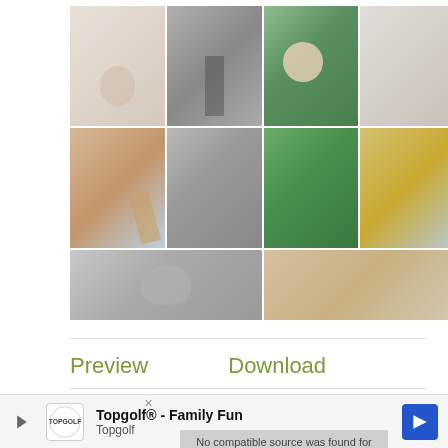[Figure (photo): Photo grid with 10 images arranged in 3 rows and 4 columns showing various subjects: fabric/texture, black-and-white person, green nature/feet, light/fabric, wheat/grass in warm tones, black-and-white portrait of man in car, green clover leaves, golden decorative items, gray bird/swan, and golden banana/tropical items.]
Preview    Download
illusion – Premium Business Multipurpose Bootstrap Template
illusion is a fantastic premium bootstrap multi...
No compatible source was found for this
[Figure (screenshot): Advertisement bar: Topgolf® - Family Fun, Topgolf logo and navigation arrow icon]